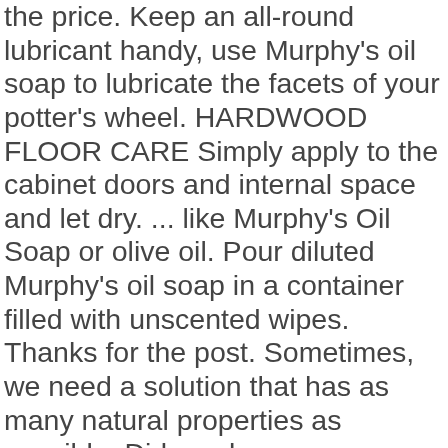the price. Keep an all-round lubricant handy, use Murphy's oil soap to lubricate the facets of your potter's wheel. HARDWOOD FLOOR CARE Simply apply to the cabinet doors and internal space and let dry. ... like Murphy's Oil Soap or olive oil. Pour diluted Murphy's oil soap in a container filled with unscented wipes. Thanks for the post. Sometimes, we need a solution that has as many natural properties as possible. Did you know you can use it to clean leather? it will also remove years worth of Pledge Furniture Polish build up the same way. I hate taking my rings to jewelry stores to have them cleaned – because they always want to sell you something. It shines my stainless steel sink, it doesn't scratch my stovetop – it's terrific! Use this method as a quick way to do a deep clean or just add it to your car cleaning process. This trusted product has been in old fashioned homes for a multitude of years and continues to receive accolades toward it's worth. 505035. Pine oil is used in raw form, but once all the ingredients are turned into soap,